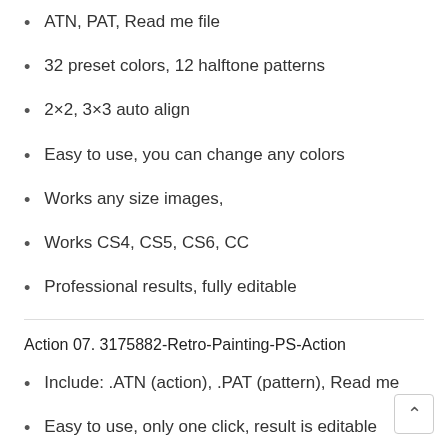ATN, PAT, Read me file
32 preset colors, 12 halftone patterns
2×2, 3×3 auto align
Easy to use, you can change any colors
Works any size images,
Works CS4, CS5, CS6, CC
Professional results, fully editable
Action 07. 3175882-Retro-Painting-PS-Action
Include: .ATN (action), .PAT (pattern), Read me
Easy to use, only one click, result is editable
Works RGB, CMYK mode images
Works Adobe photoshop CS4, CS5, CS6, CC